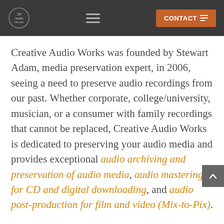Creative Audio Works — Navigation header with logo, hamburger menu, and CONTACT button
Creative Audio Works was founded by Stewart Adam, media preservation expert, in 2006, seeing a need to preserve audio recordings from our past. Whether corporate, college/university, musician, or a consumer with family recordings that cannot be replaced, Creative Audio Works is dedicated to preserving your audio media and provides exceptional audio archiving and preservation of audio media, audio mastering for CD and digital downloading, and audio post-production for film and video (Mix-to-Pix).